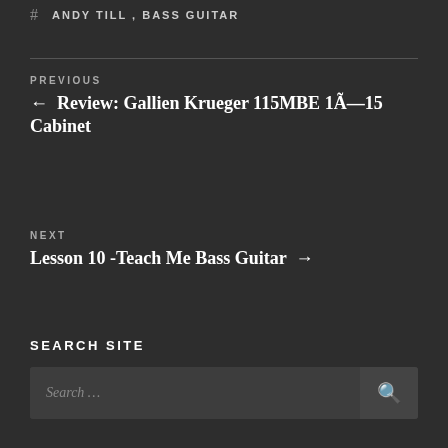# ANDY TILL, BASS GUITAR
PREVIOUS
← Review: Gallien Krueger 115MBE 1Ã—15 Cabinet
NEXT
Lesson 10 -Teach Me Bass Guitar →
SEARCH SITE
Search …